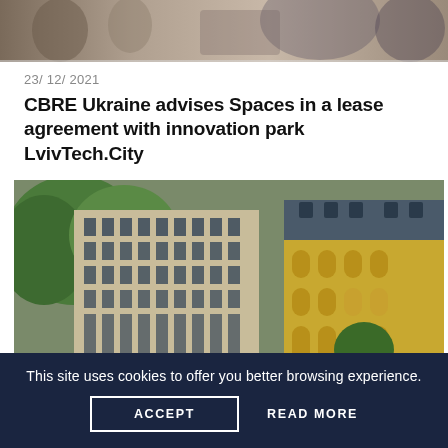[Figure (photo): Top cropped photo showing people in an office or meeting environment, partially visible]
23/ 12/ 2021
CBRE Ukraine advises Spaces in a lease agreement with innovation park LvivTech.City
[Figure (photo): Photo of modern office building facade and adjacent historic yellow building with arched windows, trees visible]
This site uses cookies to offer you better browsing experience.
ACCEPT
READ MORE